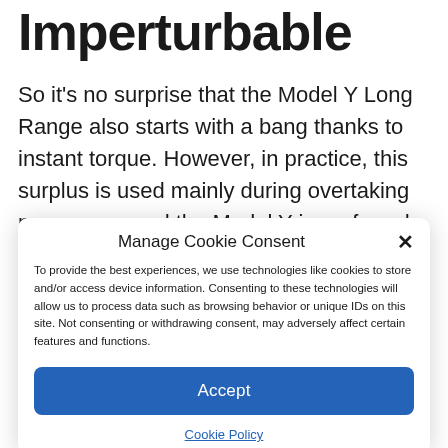Imperturbable
So it’s no surprise that the Model Y Long Range also starts with a bang thanks to instant torque. However, in practice, this surplus is used mainly during overtaking maneuvers and the Model Y is preferred in comfort. The steering is artificially heavy and
Manage Cookie Consent
To provide the best experiences, we use technologies like cookies to store and/or access device information. Consenting to these technologies will allow us to process data such as browsing behavior or unique IDs on this site. Not consenting or withdrawing consent, may adversely affect certain features and functions.
Accept
Cookie Policy